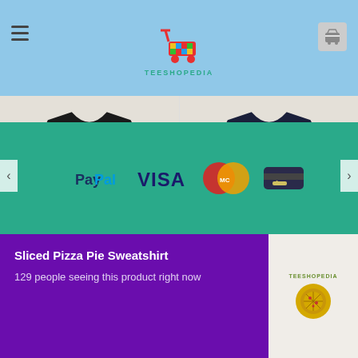Teeshopedia
[Figure (photo): Black t-shirt product photo on light gray background]
T-SHIRTS CATEGORY TEESHOPEDIA
Tshirts 1970 Box
$18.00 – $26.80
[Figure (photo): Navy blue t-shirt product photo on light gray background]
T-SHIRTS CATEGORY TEESHOPEDIA
Tshirts 1UP Soda Soft Drink
$18.00 – $26.80
[Figure (infographic): Payment method logos: PayPal, VISA, MasterCard, and another card icon on teal background]
Sliced Pizza Pie Sweatshirt
129 people seeing this product right now